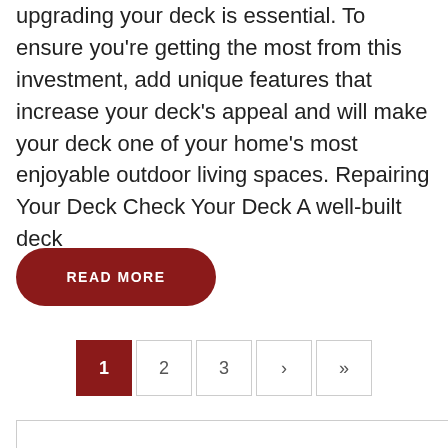upgrading your deck is essential. To ensure you're getting the most from this investment, add unique features that increase your deck's appeal and will make your deck one of your home's most enjoyable outdoor living spaces. Repairing Your Deck Check Your Deck A well-built deck
READ MORE
1 2 3 > »